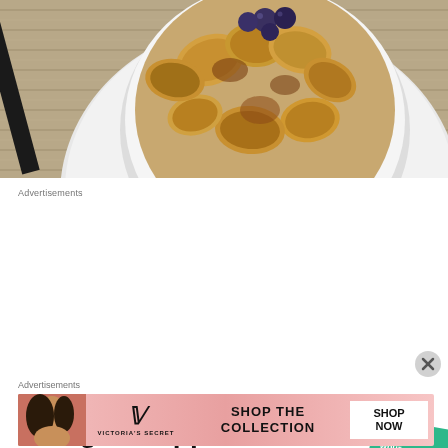[Figure (photo): Overhead view of a bowl of oatmeal or porridge topped with caramelized banana slices and fresh blueberries, on a white plate with a woven placemat and dark spoon visible]
Advertisements
[Figure (infographic): Podcast app advertisement. Large bold black text reads 'The go-to app for podcast lovers.' with red 'Download now' call to action. Shows a black device/card with yellow square and a green card partially visible on the right.]
Advertisements
[Figure (infographic): Victoria's Secret advertisement with pink gradient background. Shows a model on the left, the Victoria's Secret logo in the center, 'SHOP THE COLLECTION' text, and a white 'SHOP NOW' button on the right.]